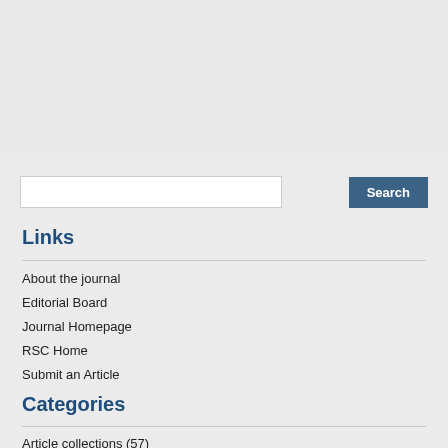[Figure (screenshot): White textarea input box (partially visible at top)]
Submit Comment
[Figure (screenshot): Search input field (white rectangle)]
Search
Links
About the journal
Editorial Board
Journal Homepage
RSC Home
Submit an Article
Categories
Article collections (57)